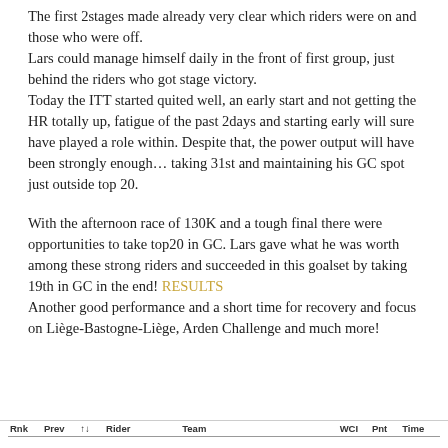The first 2stages made already very clear which riders were on and those who were off. Lars could manage himself daily in the front of first group, just behind the riders who got stage victory. Today the ITT started quited well, an early start and not getting the HR totally up, fatigue of the past 2days and starting early will sure have played a role within. Despite that, the power output will have been strongly enough… taking 31st and maintaining his GC spot just outside top 20.
With the afternoon race of 130K and a tough final there were opportunities to take top20 in GC. Lars gave what he was worth among these strong riders and succeeded in this goalset by taking 19th in GC in the end! RESULTS Another good performance and a short time for recovery and focus on Liège-Bastogne-Liège, Arden Challenge and much more!
| Rnk | Prev | ↑↓ | Rider | Team |  | WCI | Pnt | Time |
| --- | --- | --- | --- | --- | --- | --- | --- | --- |